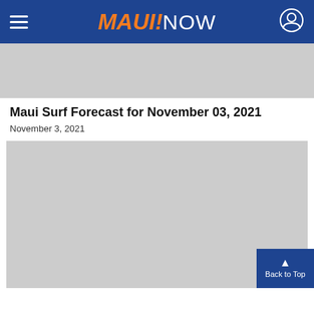MAUI NOW
[Figure (photo): Gray placeholder image at top of article]
Maui Surf Forecast for November 03, 2021
November 3, 2021
[Figure (photo): Gray placeholder image below article title]